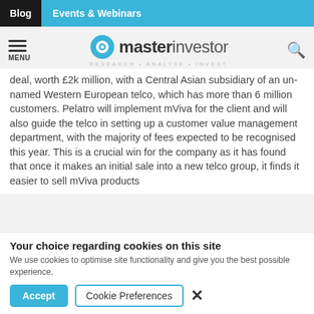Blog | Events & Webinars
[Figure (logo): Master Investor logo with hamburger menu and search icon]
deal, worth £2k million, with a Central Asian subsidiary of an un-named Western European telco, which has more than 6 million customers. Pelatro will implement mViva for the client and will also guide the telco in setting up a customer value management department, with the majority of fees expected to be recognised this year. This is a crucial win for the company as it has found that once it makes an initial sale into a new telco group, it finds it easier to sell mViva products
Your choice regarding cookies on this site
We use cookies to optimise site functionality and give you the best possible experience.